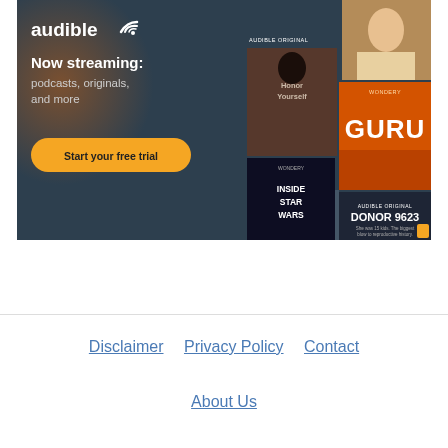[Figure (illustration): Audible advertisement banner showing logo, 'Now streaming: podcasts, originals, and more' tagline, 'Start your free trial' CTA button, and a collage of book/podcast covers including Honor Yourself, GURU, Inside Star Wars, Donor 9623, and a woman's photo]
Disclaimer   Privacy Policy   Contact   About Us